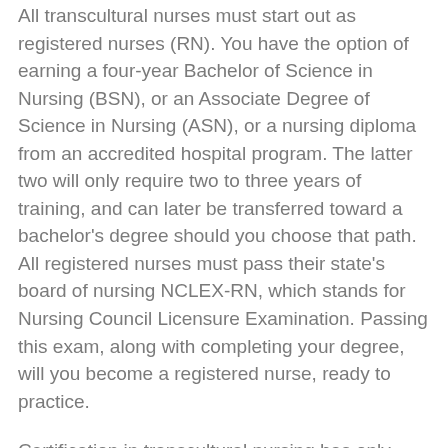All transcultural nurses must start out as registered nurses (RN). You have the option of earning a four-year Bachelor of Science in Nursing (BSN), or an Associate Degree of Science in Nursing (ASN), or a nursing diploma from an accredited hospital program. The latter two will only require two to three years of training, and can later be transferred toward a bachelor's degree should you choose that path. All registered nurses must pass their state's board of nursing NCLEX-RN, which stands for Nursing Council Licensure Examination. Passing this exam, along with completing your degree, will you become a registered nurse, ready to practice.
Certification in transcultural nursing has only been available since 1987, and it is an exam that has recently been updated following developments in the field. Unlike earning your